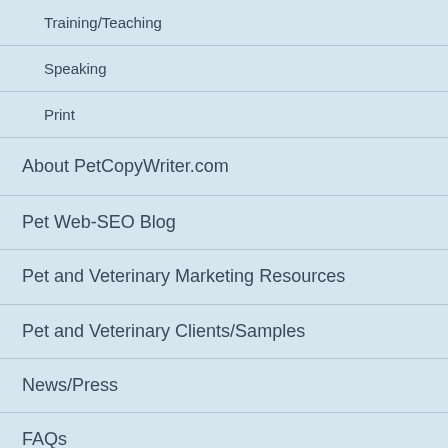Training/Teaching
Speaking
Print
About PetCopyWriter.com
Pet Web-SEO Blog
Pet and Veterinary Marketing Resources
Pet and Veterinary Clients/Samples
News/Press
FAQs